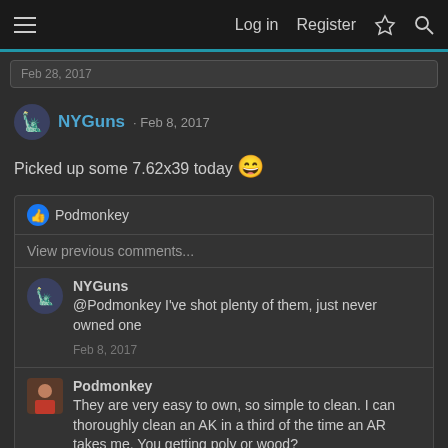Log in  Register
Feb 28, 2017
NYGuns · Feb 8, 2017
Picked up some 7.62x39 today 😄
Podmonkey
View previous comments...
NYGuns
@Podmonkey I've shot plenty of them, just never owned one
Feb 8, 2017
Podmonkey
They are very easy to own, so simple to clean. I can thoroughly clean an AK in a third of the time an AR takes me. You getting poly or wood?